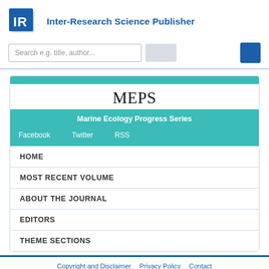[Figure (logo): Inter-Research Science Publisher logo with blue IR letters in stacked book-like shapes]
Inter-Research Science Publisher
[Figure (screenshot): Search bar with placeholder text 'Search e.g. title, author...' and two buttons]
[Figure (infographic): MEPS journal card with teal header, title 'MEPS', subtitle 'Marine Ecology Progress Series', and links for Facebook, Twitter, RSS]
HOME
MOST RECENT VOLUME
ABOUT THE JOURNAL
EDITORS
THEME SECTIONS
Copyright and Disclaimer   Privacy Policy   Contact